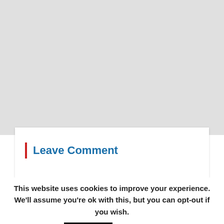[Figure (screenshot): Gray background area representing a webpage screenshot placeholder]
Leave Comment
This website uses cookies to improve your experience. We'll assume you're ok with this, but you can opt-out if you wish. Accept Read More